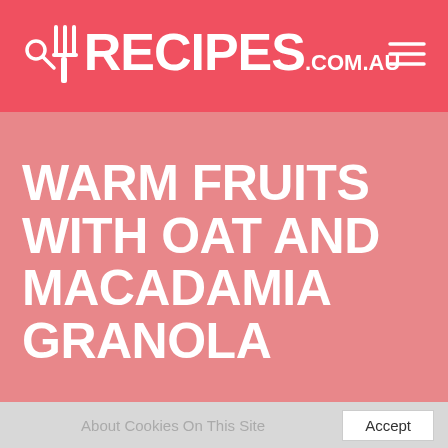RECIPES.com.au
WARM FRUITS WITH OAT AND MACADAMIA GRANOLA
About Cookies On This Site